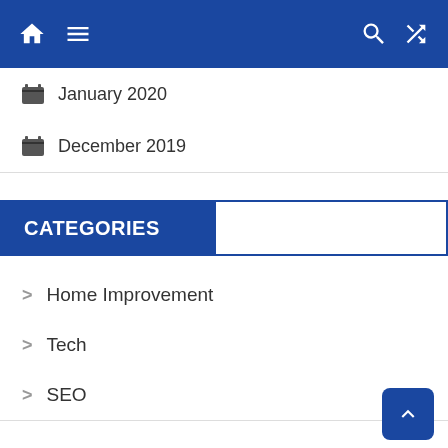Navigation bar with home, menu, search, and shuffle icons
January 2020
December 2019
CATEGORIES
Home Improvement
Tech
SEO
Business
Fashion
Game